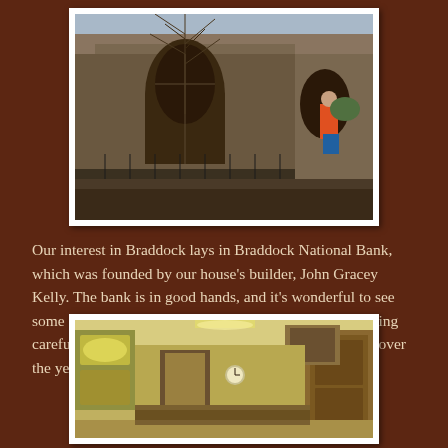[Figure (photo): Exterior photograph of a historic stone building with Gothic arched windows, surrounded by bare winter trees and an ornamental iron fence. The building appears to be a church or institutional structure.]
Our interest in Braddock lays in Braddock National Bank, which was founded by our house's builder, John Gracey Kelly. The bank is in good hands, and it's wonderful to see some of the other extraordinary structures in the area being carefully restored, after so many have been demolished over the years.
[Figure (photo): Interior photograph of what appears to be a historic bank lobby, showing warm yellow-green walls, wooden cabinetry, a clock, framed portraits, and period architectural details.]